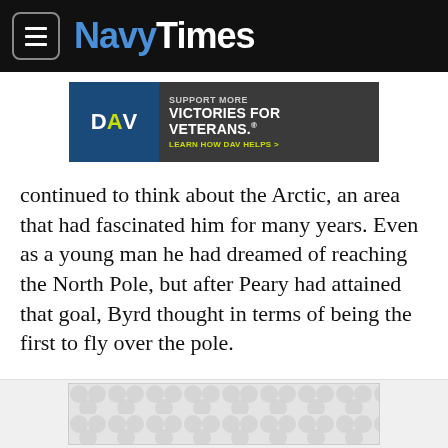NavyTimes
[Figure (other): DAV advertisement banner: SUPPORT MORE VICTORIES FOR VETERANS. LEARN HOW DAV HELPS >]
continued to think about the Arctic, an area that had fascinated him for many years. Even as a young man he had dreamed of reaching the North Pole, but after Peary had attained that goal, Byrd thought in terms of being the first to fly over the pole.
Byrd saw his chance in 1925, a time of intense activity in aviation as well as competition among the military services.
[Figure (other): Advertisement placeholder with repeating circular bubble pattern]